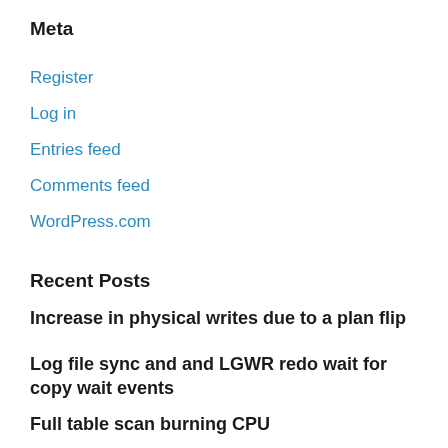Meta
Register
Log in
Entries feed
Comments feed
WordPress.com
Recent Posts
Increase in physical writes due to a plan flip
Log file sync and and LGWR redo wait for copy wait events
Full table scan burning CPU
Performance issues around GTT in 19c